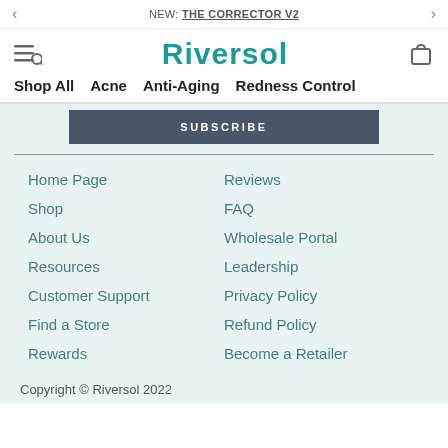NEW: THE CORRECTOR V2
Riversol
Shop All   Acne   Anti-Aging   Redness Control
SUBSCRIBE
Home Page
Reviews
Shop
FAQ
About Us
Wholesale Portal
Resources
Leadership
Customer Support
Privacy Policy
Find a Store
Refund Policy
Rewards
Become a Retailer
Copyright © Riversol 2022